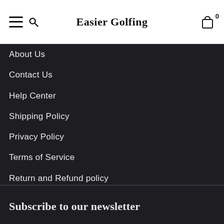Easier Golfing
About Us
Contact Us
Help Center
Shipping Policy
Privacy Policy
Terms of Service
Return and Refund policy
Billing Terms and Conditions
Facebook Disclaimer
Subscribe to our newsletter